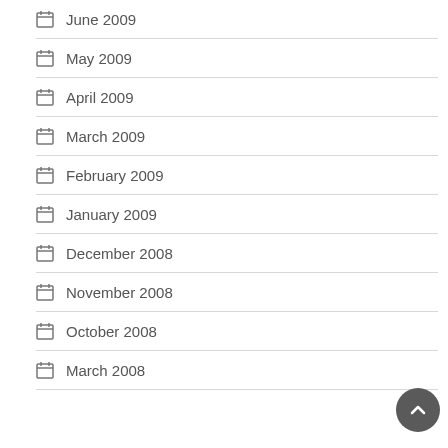June 2009
May 2009
April 2009
March 2009
February 2009
January 2009
December 2008
November 2008
October 2008
March 2008